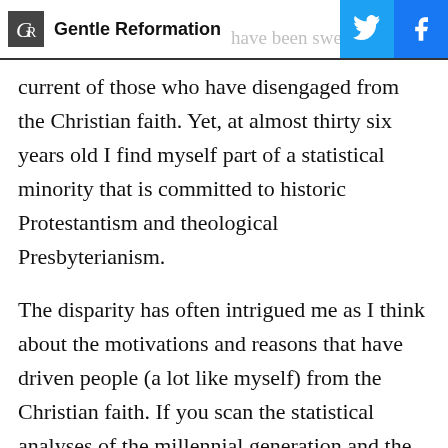Gentle Reformation
have been swept a social current of those who have disengaged from the Christian faith. Yet, at almost thirty six years old I find myself part of a statistical minority that is committed to historic Protestantism and theological Presbyterianism.
The disparity has often intrigued me as I think about the motivations and reasons that have driven people (a lot like myself) from the Christian faith. If you scan the statistical analyses of the millennial generation and the practical observations of its interpreters a recurring theme is that people my age don't think the church is relevant. Now, I know there's a degree of irony in that suggestion. After all, if